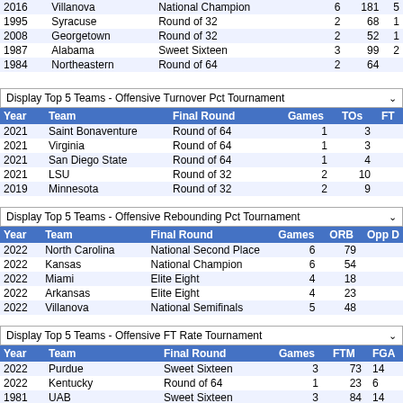| Year | Team | Final Round | Games | TOs | FT |
| --- | --- | --- | --- | --- | --- |
| 2016 | Villanova | National Champion | 6 | 181 | 5 |
| 1995 | Syracuse | Round of 32 | 2 | 68 | 1 |
| 2008 | Georgetown | Round of 32 | 2 | 52 | 1 |
| 1987 | Alabama | Sweet Sixteen | 3 | 99 | 2 |
| 1984 | Northeastern | Round of 64 | 2 | 64 |  |
Display Top 5 Teams - Offensive Turnover Pct Tournament
| Year | Team | Final Round | Games | TOs | FT |
| --- | --- | --- | --- | --- | --- |
| 2021 | Saint Bonaventure | Round of 64 | 1 | 3 |  |
| 2021 | Virginia | Round of 64 | 1 | 3 |  |
| 2021 | San Diego State | Round of 64 | 1 | 4 |  |
| 2021 | LSU | Round of 32 | 2 | 10 |  |
| 2019 | Minnesota | Round of 32 | 2 | 9 |  |
Display Top 5 Teams - Offensive Rebounding Pct Tournament
| Year | Team | Final Round | Games | ORB | Opp D |
| --- | --- | --- | --- | --- | --- |
| 2022 | North Carolina | National Second Place | 6 | 79 |  |
| 2022 | Kansas | National Champion | 6 | 54 |  |
| 2022 | Miami | Elite Eight | 4 | 18 |  |
| 2022 | Arkansas | Elite Eight | 4 | 23 |  |
| 2022 | Villanova | National Semifinals | 5 | 48 |  |
Display Top 5 Teams - Offensive FT Rate Tournament
| Year | Team | Final Round | Games | FTM | FGA |
| --- | --- | --- | --- | --- | --- |
| 2022 | Purdue | Sweet Sixteen | 3 | 73 | 14 |
| 2022 | Kentucky | Round of 64 | 1 | 23 | 6 |
| 1981 | UAB | Sweet Sixteen | 3 | 84 | 14 |
| 2022 | Virginia Tech | Round of 64 | 1 | 23 | 4 |
| 1985 | UTEP | Round of 32 | 2 | 56 | 10 |